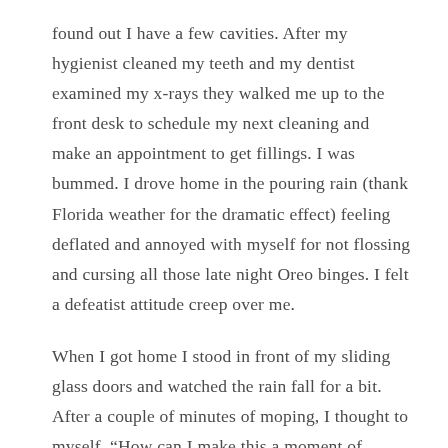found out I have a few cavities. After my hygienist cleaned my teeth and my dentist examined my x-rays they walked me up to the front desk to schedule my next cleaning and make an appointment to get fillings. I was bummed. I drove home in the pouring rain (thank Florida weather for the dramatic effect) feeling deflated and annoyed with myself for not flossing and cursing all those late night Oreo binges. I felt a defeatist attitude creep over me.
When I got home I stood in front of my sliding glass doors and watched the rain fall for a bit. After a couple of minutes of moping, I thought to myself, “How can I make this a moment of gratitude?” I wanted to find the silver lining in this rain cloud. So I ran through a mental list of things I could be grateful for in this situation.